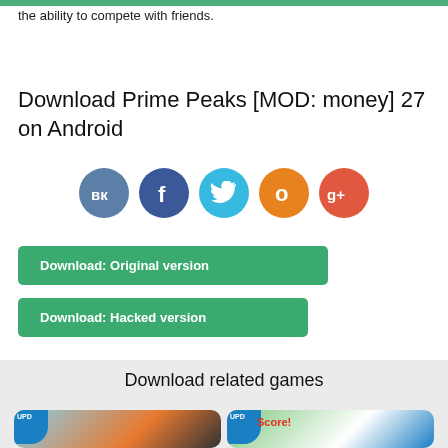the ability to compete with friends.
Download Prime Peaks [MOD: money] 27 on Android
[Figure (infographic): Five social media sharing icons: VK (blue-grey circle), Facebook (dark blue circle), Twitter (light blue circle), Odnoklassniki (orange circle), Google+ (red-orange circle)]
Download: Original version
Download: Hacked version
Download related games
[Figure (screenshot): Two game thumbnails side by side. Left card: a racing/car game with a sports car image and AR logo, with UPD badge. Right card: Score! Match game logo with football/soccer theme and UPD badge.]